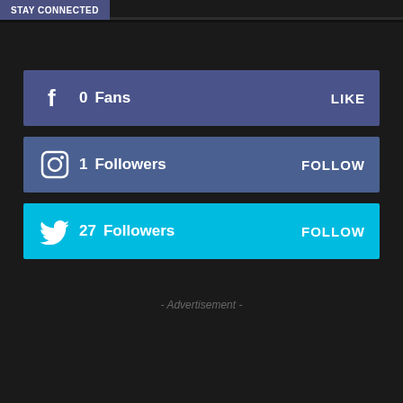Stay Connected
0  Fans   LIKE
1  Followers   FOLLOW
27  Followers   FOLLOW
- Advertisement -